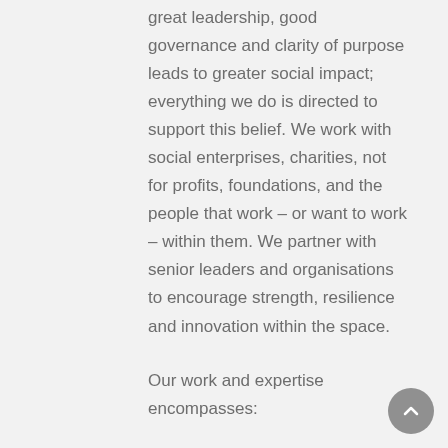great leadership, good governance and clarity of purpose leads to greater social impact; everything we do is directed to support this belief. We work with social enterprises, charities, not for profits, foundations, and the people that work – or want to work – within them. We partner with senior leaders and organisations to encourage strength, resilience and innovation within the space.
Our work and expertise encompasses:
Finding and placing fantastic senior leaders
Governance support
Education and advice